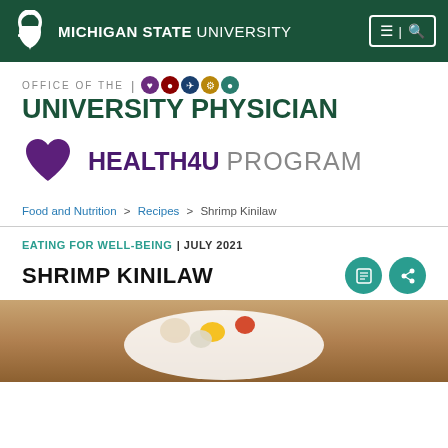MICHIGAN STATE UNIVERSITY
OFFICE OF THE | UNIVERSITY PHYSICIAN
[Figure (logo): Health4U Program logo with purple heart icon and text HEALTH4U PROGRAM]
Food and Nutrition > Recipes > Shrimp Kinilaw
EATING FOR WELL-BEING | JULY 2021
SHRIMP KINILAW
[Figure (photo): Photo of a plate of Shrimp Kinilaw dish with seafood, mango, and vegetables on a white plate]